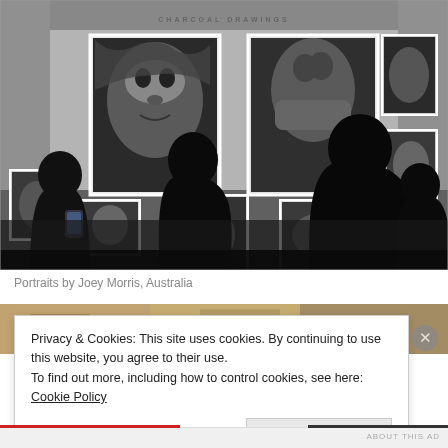[Figure (photo): Gallery interior showing charcoal portrait drawings on a white wall. Several silhouetted visitors stand in the foreground viewing the artwork. Large framed portraits visible including close-up faces. Text 'CHARCOAL DRAWINGS' visible on wall.]
Portraits by Joey Morris, Australia
[Figure (photo): Partial view of a second gallery or artwork scene, partially obscured by cookie consent dialog.]
Privacy & Cookies: This site uses cookies. By continuing to use this website, you agree to their use.
To find out more, including how to control cookies, see here: Cookie Policy